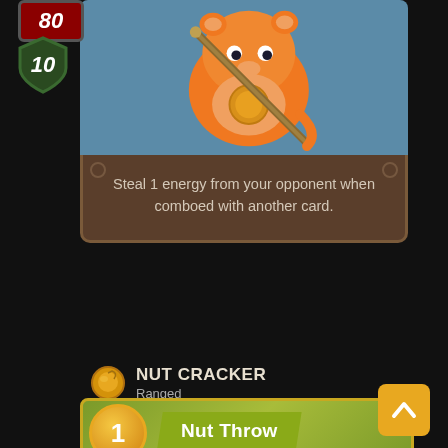[Figure (illustration): Partial game card showing orange creature on blue background with red HP badge showing 80 and green shield badge showing 10]
Steal 1 energy from your opponent when comboed with another card.
NUT CRACKER
Ranged
[Figure (illustration): Bottom portion of a game card with yellow-green background, cost circle showing 1, and banner reading Nut Throw]
[Figure (illustration): Orange scroll-up arrow button in bottom right corner]